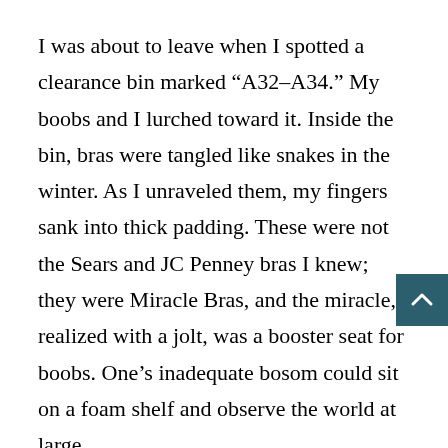I was about to leave when I spotted a clearance bin marked “A32–A34.” My boobs and I lurched toward it. Inside the bin, bras were tangled like snakes in the winter. As I unraveled them, my fingers sank into thick padding. These were not the Sears and JC Penney bras I knew; they were Miracle Bras, and the miracle, I realized with a jolt, was a booster seat for boobs. One’s inadequate bosom could sit on a foam shelf and observe the world at large.

I was too proud for the actual miracle, but